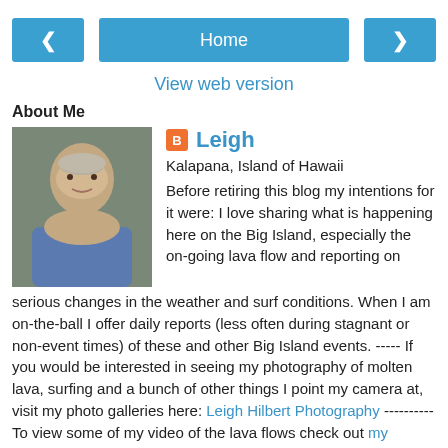[Figure (other): Navigation bar with left arrow button, Home button, and right arrow button]
View web version
About Me
[Figure (photo): Profile photo of Leigh, a man with gray hair wearing a blue shirt]
Leigh
Kalapana, Island of Hawaii
Before retiring this blog my intentions for it were: I love sharing what is happening here on the Big Island, especially the on-going lava flow and reporting on serious changes in the weather and surf conditions. When I am on-the-ball I offer daily reports (less often during stagnant or non-event times) of these and other Big Island events. ----- If you would be interested in seeing my photography of molten lava, surfing and a bunch of other things I point my camera at, visit my photo galleries here: Leigh Hilbert Photography ---------- To view some of my video of the lava flows check out my YouTube website channel; KumukahiHawk ---------- To hear radio interviews of me talking about the lava flow you can look for the titles & links along the right side of the main page. ------------ To absorb some of the amazing lava action